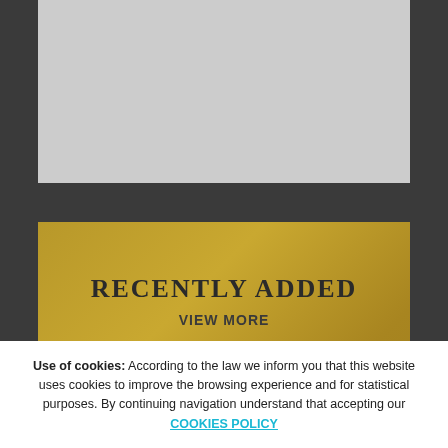[Figure (photo): Gray placeholder image area at the top of the page]
RECENTLY ADDED
VIEW MORE
[Figure (illustration): Circle button with plus sign and house icon on golden background]
[Figure (photo): Partial gray section at the bottom with a golden circle hint]
Use of cookies: According to the law we inform you that this website uses cookies to improve the browsing experience and for statistical purposes. By continuing navigation understand that accepting our COOKIES POLICY